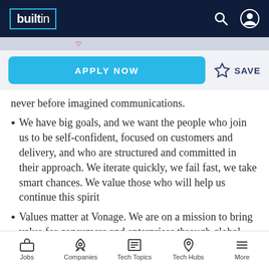builtin
never before imagined communications.
We have big goals, and we want the people who join us to be self-confident, focused on customers and delivery, and who are structured and committed in their approach. We iterate quickly, we fail fast, we take smart chances. We value those who will help us continue this spirit
Values matter at Vonage. We are on a mission to bring value for consumers and enterprises through global cloud based
Jobs  Companies  Tech Topics  Tech Hubs  More